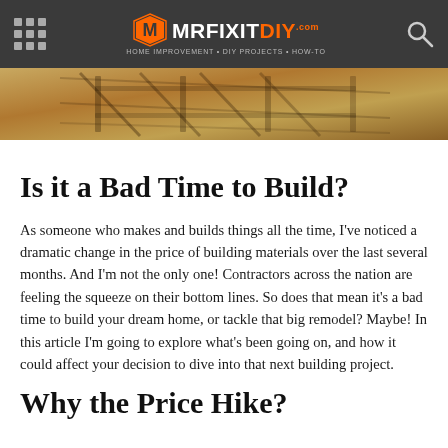MRFIXITDIY.COM — HOME IMPROVEMENT • DIY PROJECTS • HOW-TO
[Figure (photo): Aerial view of a construction foundation or rebar framework on dirt ground, taken from above showing shadows of the structure.]
Is it a Bad Time to Build?
As someone who makes and builds things all the time, I've noticed a dramatic change in the price of building materials over the last several months. And I'm not the only one! Contractors across the nation are feeling the squeeze on their bottom lines. So does that mean it's a bad time to build your dream home, or tackle that big remodel? Maybe! In this article I'm going to explore what's been going on, and how it could affect your decision to dive into that next building project.
Why the Price Hike?